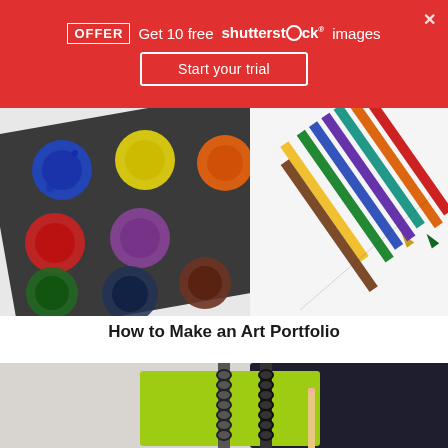OFFER Get 10 free shutterstock images — Start your trial
[Figure (photo): Watercolor paint palette on the left with circular paint wells in various colors (blue, yellow, orange, red, green, brown, purple), and colored pencils fanned out on the right on a white background]
How to Make an Art Portfolio
[Figure (photo): Two spiral-bound notebooks — one lime green and one dark navy/black — on a light gray background, with a pencil resting between them]